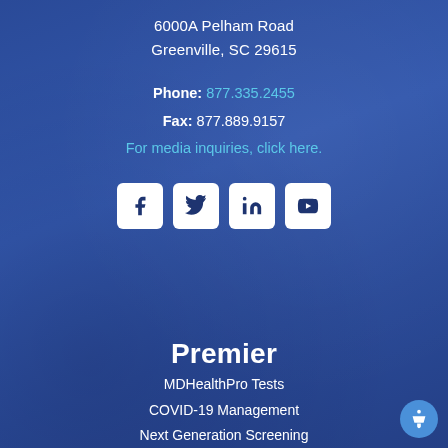6000A Pelham Road
Greenville, SC 29615
Phone: 877.335.2455
Fax: 877.889.9157
For media inquiries, click here.
[Figure (infographic): Four social media icon buttons: Facebook, Twitter, LinkedIn, YouTube — white rounded square icons with dark blue symbols]
Premier
MDHealthPro Tests
COVID-19 Management
Next Generation Screening